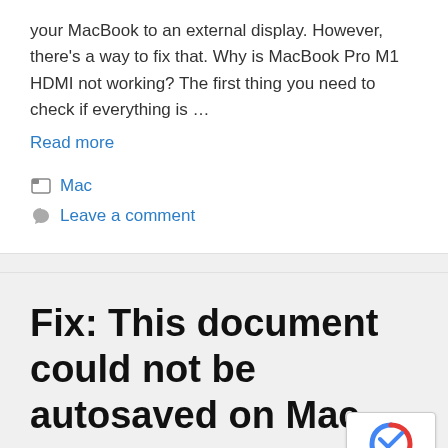your MacBook to an external display. However, there's a way to fix that. Why is MacBook Pro M1 HDMI not working? The first thing you need to check if everything is ...
Read more
Mac
Leave a comment
Fix: This document could not be autosaved on Mac
April 11, 2022 by Milan Stanojevic